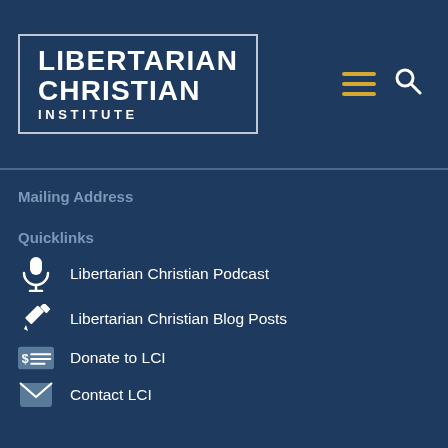[Figure (logo): Libertarian Christian Institute logo — white bold text on dark navy blue background inside a white border rectangle. Three lines: LIBERTARIAN, CHRISTIAN, INSTITUTE]
Mailing Address
Quicklinks
Libertarian Christian Podcast
Libertarian Christian Blog Posts
Donate to LCI
Contact LCI